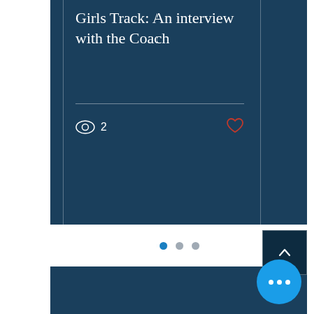Girls Track: An interview with the Coach
2
[Figure (screenshot): Pagination dots: one active blue dot and two inactive grey dots]
[Figure (other): Back to top button with upward chevron arrow]
[Figure (other): More options button: bright blue circle with three white dots]